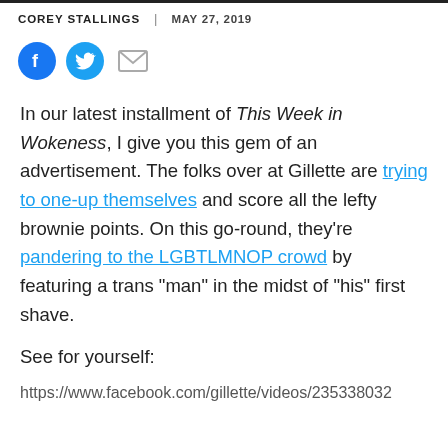COREY STALLINGS | MAY 27, 2019
[Figure (illustration): Social sharing icons: Facebook (blue circle with f), Twitter (blue circle with bird), Email (grey envelope)]
In our latest installment of This Week in Wokeness, I give you this gem of an advertisement. The folks over at Gillette are trying to one-up themselves and score all the lefty brownie points. On this go-round, they're pandering to the LGBTLMNOP crowd by featuring a trans "man" in the midst of "his" first shave.
See for yourself:
https://www.facebook.com/gillette/videos/235338032